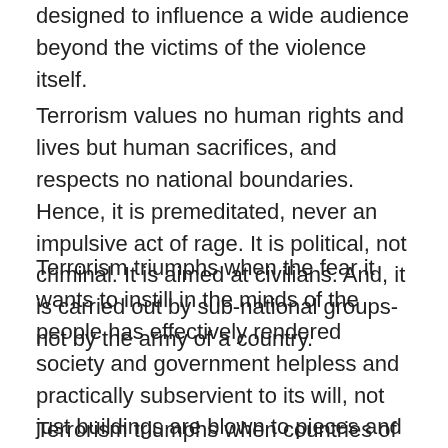designed to influence a wide audience beyond the victims of the violence itself.
Terrorism values no human rights and lives but human sacrifices, and respects no national boundaries. Hence, it is premeditated, never an impulsive act of rage. It is political, not criminal. It is aimed at civilians. And, it is carried out by sub-national groups-not by the army of a country.
Terrorism triumphs when the fear it wants to instill in the minds of the people has effectively rendered society and government helpless and practically subservient to its will, not just buildings are blown to pieces and civilians are massacred.
Terrorism triumphs when countries of the world